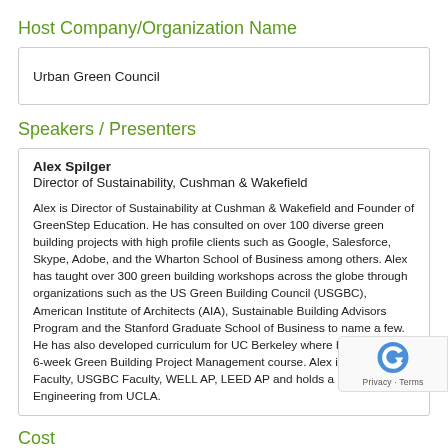Host Company/Organization Name
| Urban Green Council |
Speakers / Presenters
Alex Spilger
Director of Sustainability, Cushman & Wakefield

Alex is Director of Sustainability at Cushman & Wakefield and Founder of GreenStep Education. He has consulted on over 100 diverse green building projects with high profile clients such as Google, Salesforce, Skype, Adobe, and the Wharton School of Business among others. Alex has taught over 300 green building workshops across the globe through organizations such as the US Green Building Council (USGBC), American Institute of Architects (AIA), Sustainable Building Advisors Program and the Stanford Graduate School of Business to name a few. He has also developed curriculum for UC Berkeley where he teaches a 6-week Green Building Project Management course. Alex is WELL Faculty, USGBC Faculty, WELL AP, LEED AP and holds a B.S. in Civil Engineering from UCLA.
Cost